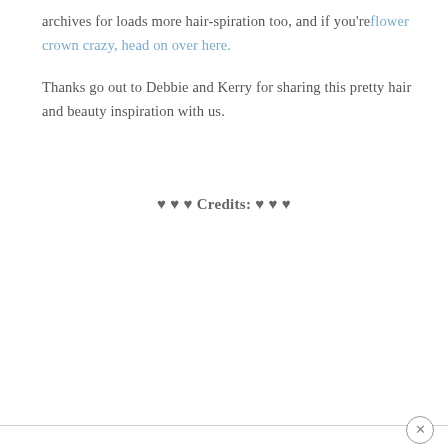archives for loads more hair-spiration too, and if you're flower crown crazy, head on over here.
Thanks go out to Debbie and Kerry for sharing this pretty hair and beauty inspiration with us.
♥ ♥ ♥ Credits: ♥ ♥ ♥